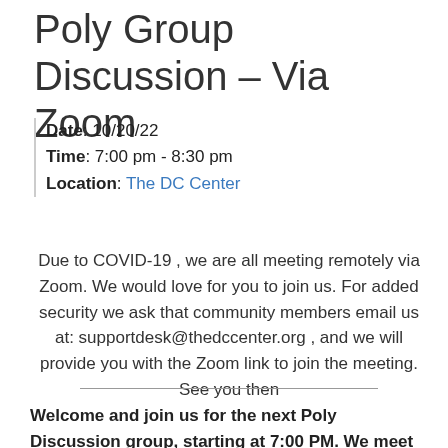Poly Group Discussion – Via Zoom
Date: 10/20/22
Time: 7:00 pm - 8:30 pm
Location: The DC Center
Due to COVID-19 , we are all meeting remotely via Zoom. We would love for you to join us. For added security we ask that community members email us at: supportdesk@thedccenter.org , and we will provide you with the Zoom link to join the meeting. See you then
Welcome and join us for the next Poly Discussion group, starting at 7:00 PM. We meet